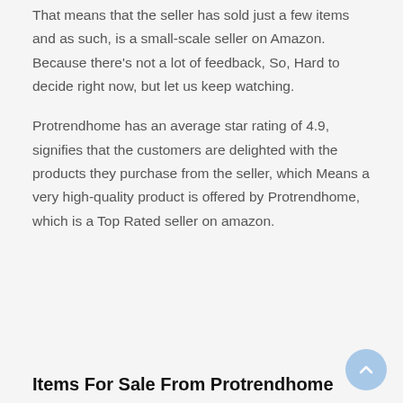That means that the seller has sold just a few items and as such, is a small-scale seller on Amazon. Because there's not a lot of feedback, So, Hard to decide right now, but let us keep watching.
Protrendhome has an average star rating of 4.9, signifies that the customers are delighted with the products they purchase from the seller, which Means a very high-quality product is offered by Protrendhome, which is a Top Rated seller on amazon.
Items For Sale From Protrendhome